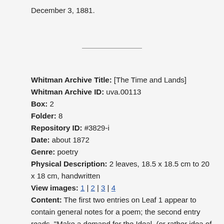December 3, 1881.
Whitman Archive Title: [The Time and Lands]
Whitman Archive ID: uva.00113
Box: 2
Folder: 8
Repository ID: #3829-i
Date: about 1872
Genre: poetry
Physical Description: 2 leaves, 18.5 x 18.5 cm to 20 x 18 cm, handwritten
View images: 1 | 2 | 3 | 4
Content: The first two entries on Leaf 1 appear to contain general notes for a poem; the second entry reads, "Make a demand for the Ideal, (or rather idea of the Ideal of the real)." The lines are followed by the note "in the piece," which leads up to several trial verses eventually incorporated in the second verse paragraph of numbered section 5 of "Thou